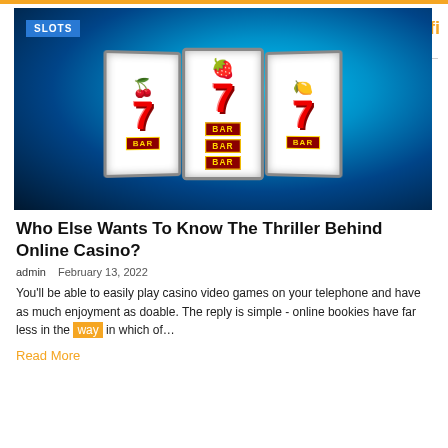[Figure (photo): Slot machine reels showing 7s, cherries, and BAR symbols against a blue glowing background. A blue badge labeled SLOTS appears in the top-left corner of the image.]
Who Else Wants To Know The Thriller Behind Online Casino?
admin   February 13, 2022
You'll be able to easily play casino video games on your telephone and have as much enjoyment as doable. The reply is simple - online bookies have far less in the way in which of…
Read More